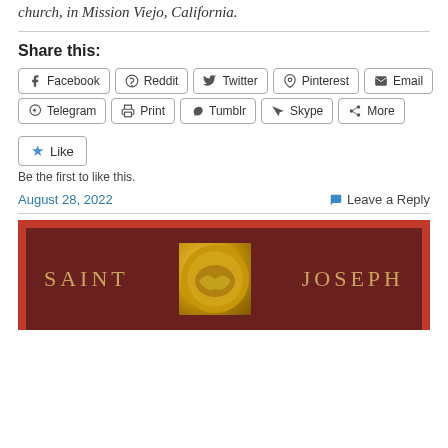church, in Mission Viejo, California.
Share this:
Facebook  Reddit  Twitter  Pinterest  Email  Telegram  Print  Tumblr  Skype  More
Like
Be the first to like this.
August 28, 2022    Leave a Reply
[Figure (illustration): Saint Joseph book cover or image with red border, dark maroon background, golden ornamental circle in center, text reading SAINT on left and JOSEPH on right in golden serif letters]